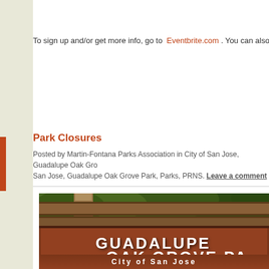To sign up and/or get more info, go to Eventbrite.com . You can also sign up at th
Park Closures
Posted by Martin-Fontana Parks Association in City of San Jose, Guadalupe Oak Gro... San Jose, Guadalupe Oak Grove Park, Parks, PRNS. Leave a comment
[Figure (photo): Photograph of a brown wooden park sign reading 'GUADALUPE OAK GROVE PA... City of San Jose' with wooden fence rails and green trees in the background.]